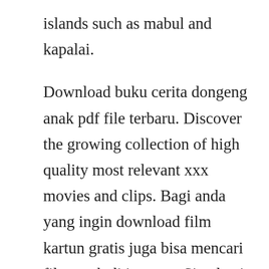islands such as mabul and kapalai.
Download buku cerita dongeng anak pdf file terbaru. Discover the growing collection of high quality most relevant xxx movies and clips. Bagi anda yang ingin download film kartun gratis juga bisa mencari film anak di internet. Sipadan is the only oceanic island in malaysia, the huge pillar that forms the atoll functions as a shelter for many sea animals and fish. Dont overpay and dont use cracks download fdm, an amazingly powerful and hassle free tool. There are 3 ways to get from